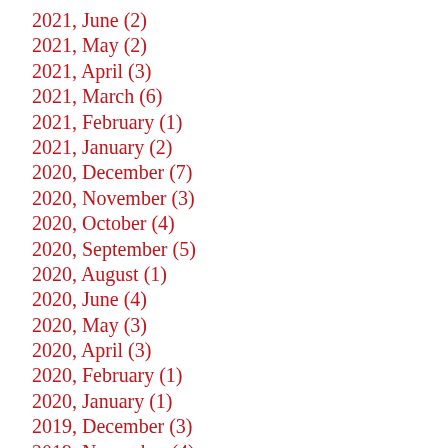2021, June (2)
2021, May (2)
2021, April (3)
2021, March (6)
2021, February (1)
2021, January (2)
2020, December (7)
2020, November (3)
2020, October (4)
2020, September (5)
2020, August (1)
2020, June (4)
2020, May (3)
2020, April (3)
2020, February (1)
2020, January (1)
2019, December (3)
2019, November (4)
2019, October (1)
2019, September (2)